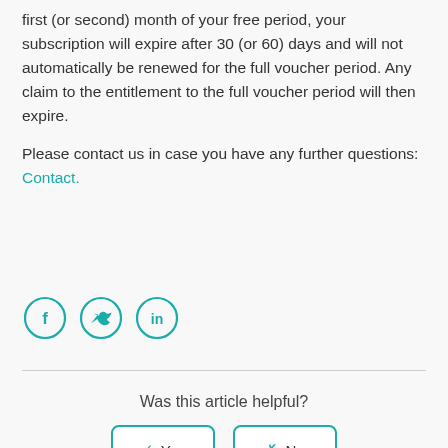first (or second) month of your free period, your subscription will expire after 30 (or 60) days and will not automatically be renewed for the full voucher period. Any claim to the entitlement to the full voucher period will then expire.
Please contact us in case you have any further questions: Contact.
[Figure (illustration): Three circular social media icons: Facebook (f), Twitter (bird), and LinkedIn (in), rendered in teal outline style.]
Was this article helpful?
✓ Yes   ✗ No
7 out of 11 found this helpful